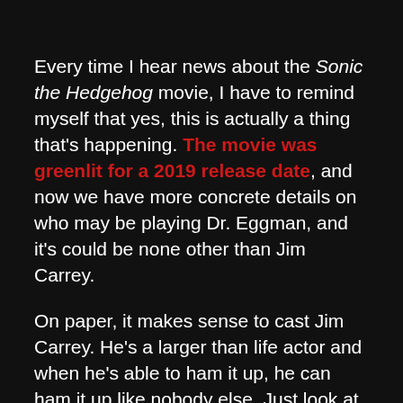Every time I hear news about the Sonic the Hedgehog movie, I have to remind myself that yes, this is actually a thing that's happening. The movie was greenlit for a 2019 release date, and now we have more concrete details on who may be playing Dr. Eggman, and it's could be none other than Jim Carrey.
On paper, it makes sense to cast Jim Carrey. He's a larger than life actor and when he's able to ham it up, he can ham it up like nobody else. Just look at Ace Ventura, Dumb & Dumber, and The Grinch. All of them are great movies because of Jim Carrey's awesome performance, but keep in mind that